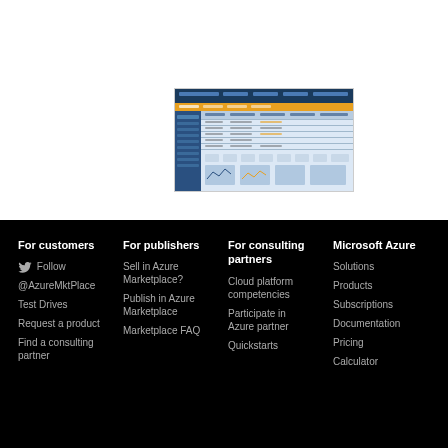[Figure (screenshot): Screenshot of Azure Marketplace interface showing a dashboard/spreadsheet view with blue header, orange navigation bar, and tabular data content]
For customers
For publishers
For consulting partners
Microsoft Azure
Follow @AzureMktPlace
Test Drives
Request a product
Find a consulting partner
Sell in Azure Marketplace?
Publish in Azure Marketplace
Marketplace FAQ
Cloud platform competencies
Participate in Azure partner
Quickstarts
Solutions
Products
Subscriptions
Documentation
Pricing
Calculator